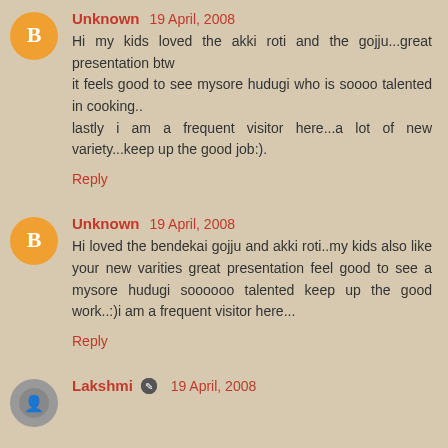Unknown 19 April, 2008
Hi my kids loved the akki roti and the gojju...great presentation btw
it feels good to see mysore hudugi who is soooo talented in cooking..
lastly i am a frequent visitor here...a lot of new variety...keep up the good job:).
Reply
Unknown 19 April, 2008
Hi loved the bendekai gojju and akki roti..my kids also like your new varities great presentation feel good to see a mysore hudugi soooooo talented keep up the good work..:)i am a frequent visitor here...
Reply
Lakshmi 19 April, 2008